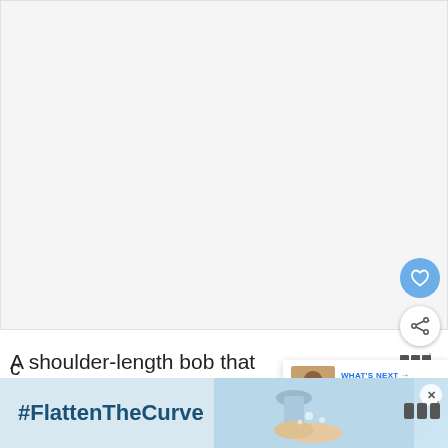[Figure (photo): Large white/blank image area occupying the upper portion of the page, representing a photograph of a hairstyle]
[Figure (illustration): Heart/favorite button — blue circle with white heart icon]
[Figure (illustration): Share button — white circle with share icon]
[Figure (screenshot): What's Next panel showing a thumbnail of a woman's face and text: WHAT'S NEXT → 35 Elegant Hairstyles...]
A shoulder-length bob that is cut bluntly, hair curling in toward the face, creating a small c
[Figure (screenshot): Advertisement banner at the bottom with #FlattenTheCurve hashtag, image of hands washing, close button X, and logo icons]